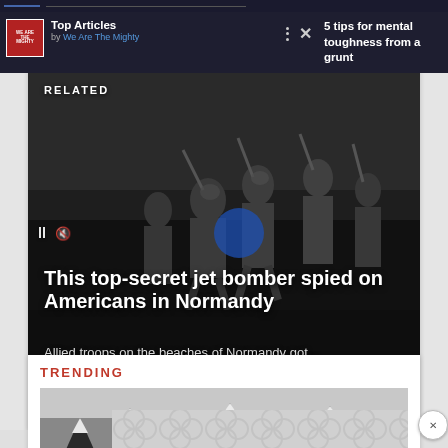Top Articles by We Are The Mighty
5 tips for mental toughness from a grunt
RELATED
This top-secret jet bomber spied on Americans in Normandy
Allied troops on the beaches of Normandy got...
TRENDING
[Figure (photo): Snow-covered forest trees, black and white photograph]
[Figure (other): Advertisement/loading spinner overlay with circular pattern design]